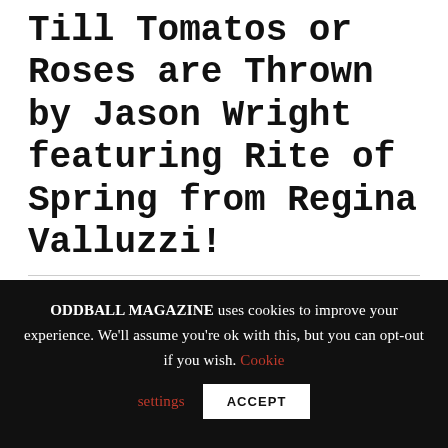Till Tomatos or Roses are Thrown by Jason Wright featuring Rite of Spring from Regina Valluzzi!
March 11th, 2012 | Art, Jason Wright | 4 Comments
ODDBALL MAGAZINE uses cookies to improve your experience. We'll assume you're ok with this, but you can opt-out if you wish. Cookie settings ACCEPT